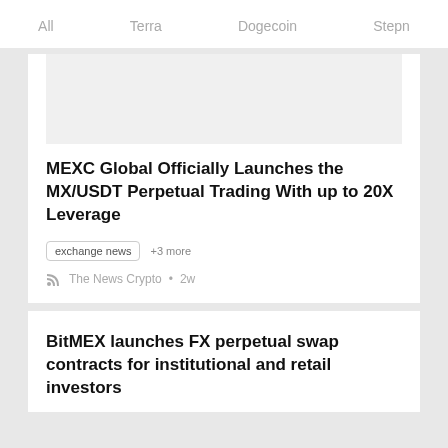All   Terra   Dogecoin   Stepn
[Figure (photo): Image placeholder area above article card]
MEXC Global Officially Launches the MX/USDT Perpetual Trading With up to 20X Leverage
exchange news  +3 more
The News Crypto • 2w
BitMEX launches FX perpetual swap contracts for institutional and retail investors